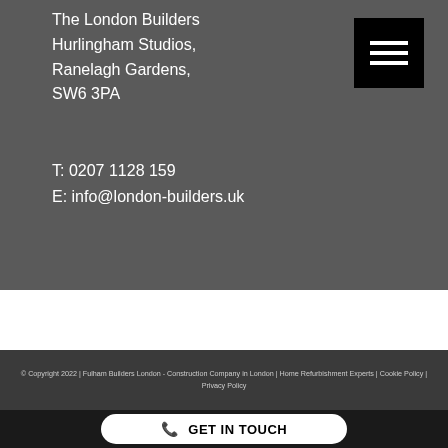The London Builders
Hurlingham Studios,
Ranelagh Gardens,
SW6 3PA
[Figure (other): Hamburger menu button — black square with three white horizontal lines]
T: 0207 1128 159
E: info@london-builders.uk
© Copyright 2022 | Fulham Builders London - Construction Company in London | Home Refurbishment Experts | Cookie Policy | Privacy Policy
GET IN TOUCH